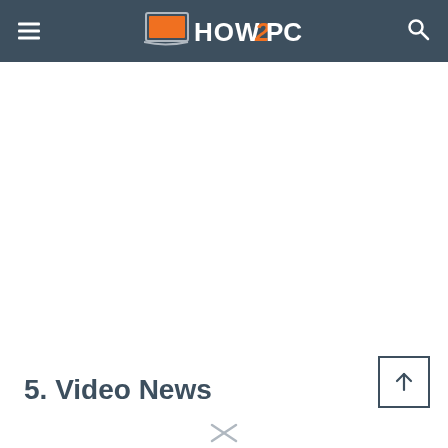HOW2PC
[Figure (other): Advertisement / blank white area placeholder]
5. Video News